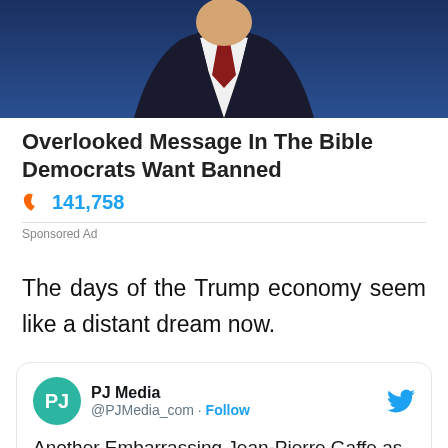[Figure (photo): Photo of a man in a dark suit with a red tie against a blue background, cropped to show torso and lower face.]
Overlooked Message In The Bible Democrats Want Banned
🔥 141,758
Sponsored Ad
The days of the Trump economy seem like a distant dream now.
PJ Media @PJMedia_com · Follow Another Embarrassing Jean-Pierre Gaffe as She Tries, Fails to Cover for Biden's White Privilege